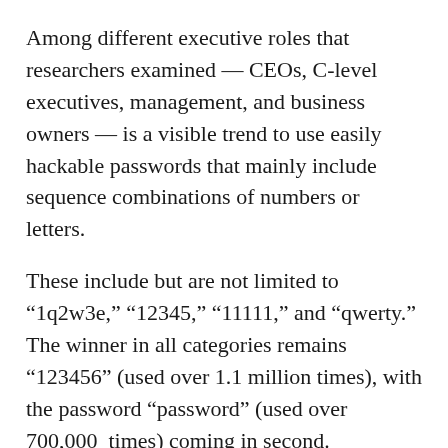Among different executive roles that researchers examined — CEOs, C-level executives, management, and business owners — is a visible trend to use easily hackable passwords that mainly include sequence combinations of numbers or letters.
These include but are not limited to “1q2w3e,” “12345,” “11111,” and “qwerty.” The winner in all categories remains “123456” (used over 1.1 million times), with the password “password” (used over 700,000 times) coming in second.
Research suggests that top-level executives also extensively use names or mythical creatures as an inspiration when creating passwords. Among the most popular are “dragon” and “monkey.” The most widely chosen names used in passwords are “Tiffany,” “Charlie,” “Michael,” and “Jordan,” which may or may not hint at